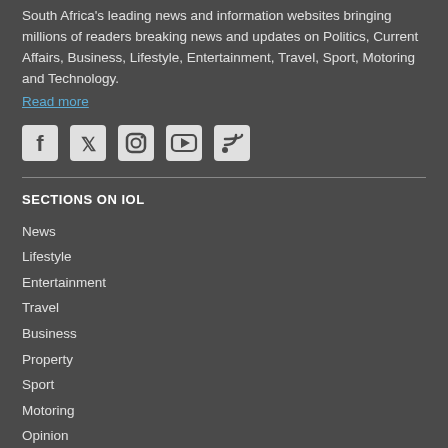South Africa's leading news and information websites bringing millions of readers breaking news and updates on Politics, Current Affairs, Business, Lifestyle, Entertainment, Travel, Sport, Motoring and Technology.
Read more
[Figure (infographic): Social media icons: Facebook, Twitter, Instagram, YouTube, RSS feed]
SECTIONS ON IOL
News
Lifestyle
Entertainment
Travel
Business
Property
Sport
Motoring
Opinion
IOL TV
Brandstories